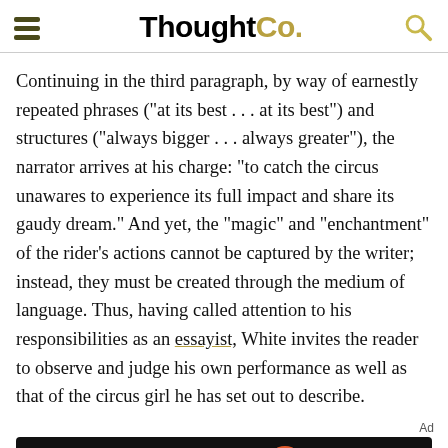ThoughtCo.
Continuing in the third paragraph, by way of earnestly repeated phrases ("at its best . . . at its best") and structures ("always bigger . . . always greater"), the narrator arrives at his charge: "to catch the circus unawares to experience its full impact and share its gaudy dream." And yet, the "magic" and "enchantment" of the rider's actions cannot be captured by the writer; instead, they must be created through the medium of language. Thus, having called attention to his responsibilities as an essayist, White invites the reader to observe and judge his own performance as well as that of the circus girl he has set out to describe.
[Figure (other): Dotdash Meredith advertisement banner: 'We help people find answers, solve problems and get inspired.']